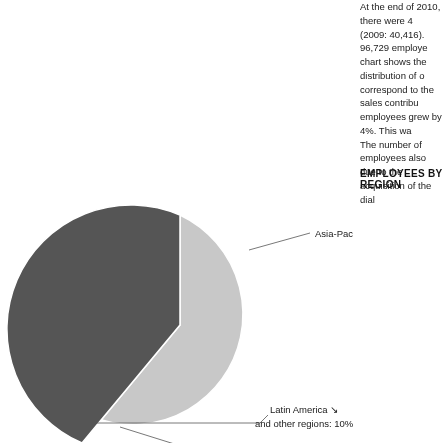At the end of 2010, there were 4 (2009: 40,416). 96,729 employees chart shows the distribution of o correspond to the sales contribu employees grew by 4%. This wa The number of employees also due to the acquisition of the dial
EMPLOYEES BY REGION
[Figure (pie-chart): Pie chart showing employees by region. Visible labels: Asia-Pacific, Latin America and other regions: 10%, North America: 33%]